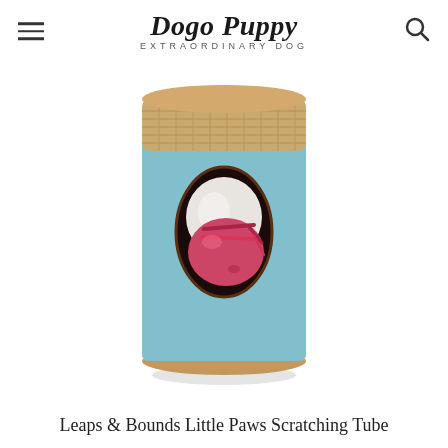Dogo Puppy — EXTRAORDINARY DOG
[Figure (photo): A cylindrical pet scratching tube toy with a light blue felt body, burlap/jute textured bands at top and bottom, and an oval cutout window revealing a pink ball/toy inside.]
Leaps & Bounds Little Paws Scratching Tube